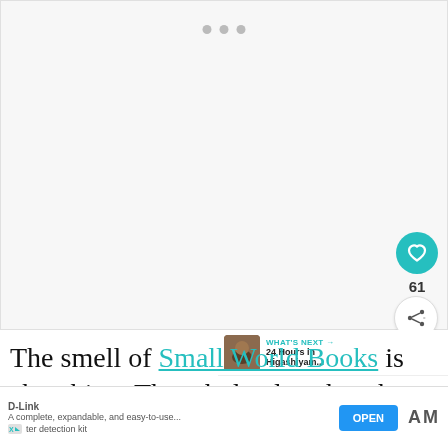[Figure (photo): Large image placeholder area with three pagination dots at top center, a teal heart/like button on the right side, a like count of 61, and a share button below]
The smell of Small World Books is absorbing. The whole place has that scent that lu...
WHAT'S NEXT → 24 Hours in Higashiyam...
D-Link  A complete, expandable, and easy-to-use... OPEN  ter detection kit